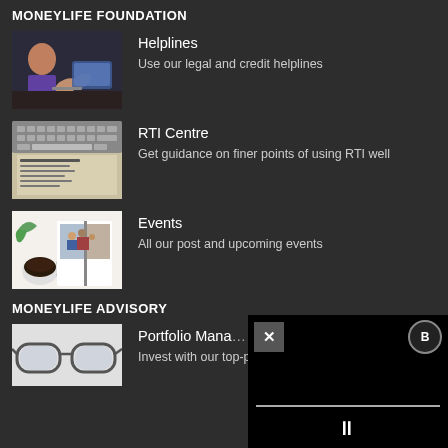MONEYLIFE FOUNDATION
[Figure (photo): People at a meeting with laptops and hands gesturing]
Helplines
Use our legal and credit helplines
[Figure (photo): Newspapers or documents on a table with a laptop keyboard]
RTI Centre
Get guidance on finer points of using RTI well
[Figure (photo): Coffee cup and open magazine/event booklet on white background]
Events
All our post and upcoming events
MONEYLIFE ADVISORY
[Figure (photo): Glasses on white background - portfolio management]
Portfolio Mana...
Invest with our top-performing schemes
[Figure (screenshot): Video player overlay with close button, pause button, and progress bar]